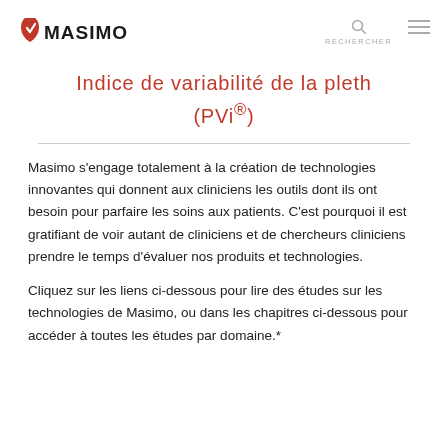Masimo [logo] RECHERCHER [menu]
Indice de variabilité de la pleth (PVi®)
Masimo s'engage totalement à la création de technologies innovantes qui donnent aux cliniciens les outils dont ils ont besoin pour parfaire les soins aux patients. C'est pourquoi il est gratifiant de voir autant de cliniciens et de chercheurs cliniciens prendre le temps d'évaluer nos produits et technologies.
Cliquez sur les liens ci-dessous pour lire des études sur les technologies de Masimo, ou dans les chapitres ci-dessous pour accéder à toutes les études par domaine.*